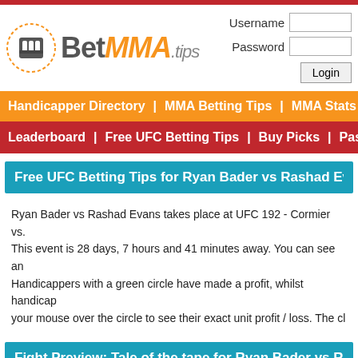[Figure (logo): BetMMA.tips logo with fist icon and orange/gray stylized text]
Username | Password | Login
Handicapper Directory | MMA Betting Tips | MMA Stats | Betting...
Leaderboard | Free UFC Betting Tips | Buy Picks | Past MMA...
Free UFC Betting Tips for Ryan Bader vs Rashad Evans
Ryan Bader vs Rashad Evans takes place at UFC 192 - Cormier vs. This event is 28 days, 7 hours and 41 minutes away. You can see an Handicappers with a green circle have made a profit, whilst handicap your mouse over the circle to see their exact unit profit / loss. The cl
Fight Preview: Tale of the tape for Ryan Bader vs Rashad
[Figure (photo): Fighter photo (dark, partially visible face)]